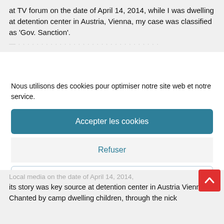at TV forum on the date of April 14, 2014, while I was dwelling at detention center in Austria, Vienna, my case was classified as 'Gov. Sanction'.
Nous utilisons des cookies pour optimiser notre site web et notre service.
Accepter les cookies
Refuser
Voir les préférences
Politique de cookies  Politique de cookies  Politique de cookies
Local media on the date of April 14, 2014, its story was key source at detention center in Austria Vienna, Chanted by camp dwelling children, through the nick